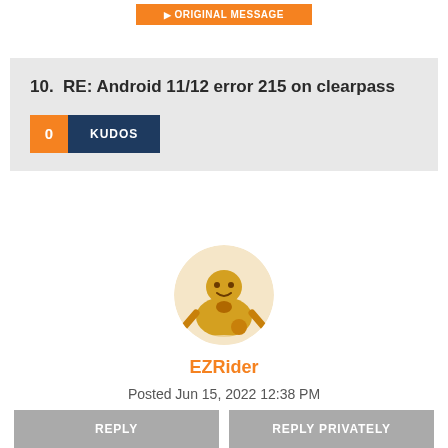[Figure (other): Orange button labeled '▶ ORIGINAL MESSAGE']
10.  RE: Android 11/12 error 215 on clearpass
0 KUDOS
[Figure (illustration): Circular avatar icon showing a cartoon character in brown/gold colors with a round ball below, on a cream/white circular background]
EZRider
Posted Jun 15, 2022 12:38 PM
REPLY   REPLY PRIVATELY